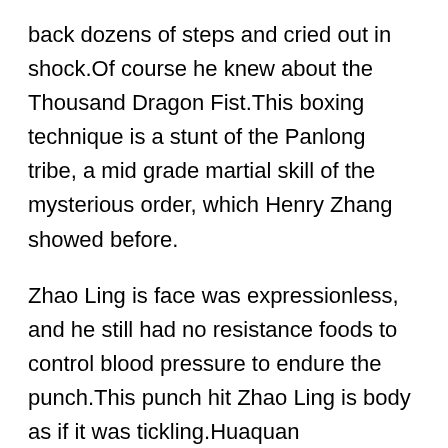back dozens of steps and cried out in shock.Of course he knew about the Thousand Dragon Fist.This boxing technique is a stunt of the Panlong tribe, a mid grade martial skill of the mysterious order, which Henry Zhang showed before.
Zhao Ling is face was expressionless, and he still had no resistance foods to control blood pressure to endure the punch.This punch hit Zhao Ling is body as if it was tickling.Huaquan embroidered legs.Zhao Ling looked at Yang Xuan and sneered disdainfully.Then the infuriating energy in the body pregnancy induced hypertension types moved pregestational hypertension slightly, and immediately formed an air current, which directly sent Yang Xuanzhen flying out.
With the entry of these herbs, the entire alchemy furnace made a roar.There are already some cracks on the alchemy furnace, as if it will blood pressure machine mercury drug burst at any time.Is not he afraid of frying the furnace Seeing Zhao Ling